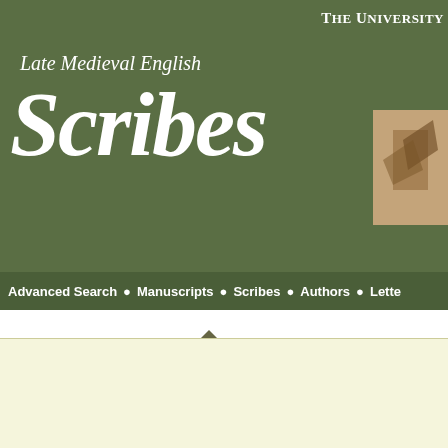THE UNIVERSITY
Late Medieval English Scribes
Advanced Search • Manuscripts • Scribes • Authors • Lette
Browse Authors: Authors > Manuscripts authored by Chaucer and Ly
Cambridge, Cambridge University Library MS Hh.4.12
Cambridge, Magdalene College MS Pepys 2006
Cambridge, Trinity College MS R.3.19 (599)
Cambridge, Trinity College
England, Manchester, Chet 6709 (Mun. A.4.104)
London, British Library M